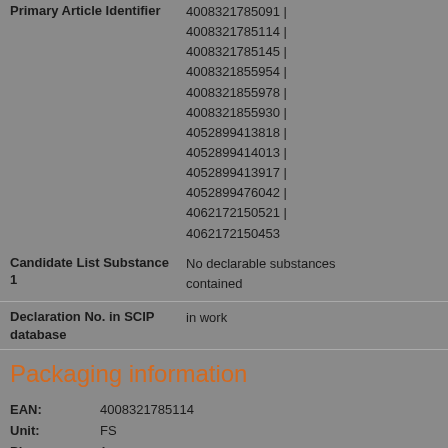| Field | Value |
| --- | --- |
| Primary Article Identifier | 4008321785091 | 4008321785114 | 4008321785145 | 4008321855954 | 4008321855978 | 4008321855930 | 4052899413818 | 4052899414013 | 4052899413917 | 4052899476042 | 4062172150521 | 4062172150453 |
| Candidate List Substance 1 | No declarable substances contained |
| Declaration No. in SCIP database | in work |
Packaging information
EAN: 4008321785114
Unit: FS
Piece: 1